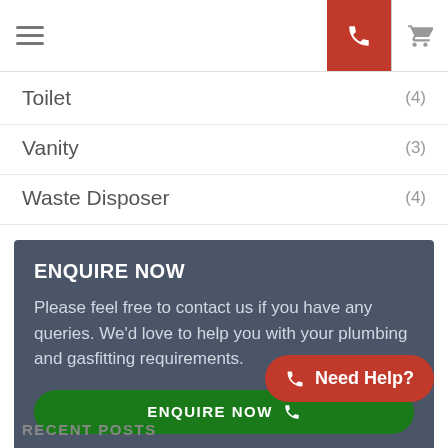Navigation bar with hamburger menu, phone button, and cart icon
Toilet (4)
Vanity (3)
Waste Disposer (4)
ENQUIRE NOW
Please feel free to contact us if you have any queries. We'd love to help you with your plumbing and gasfitting requirements.
ENQUIRE NOW
Need Help?
RECENT POSTS